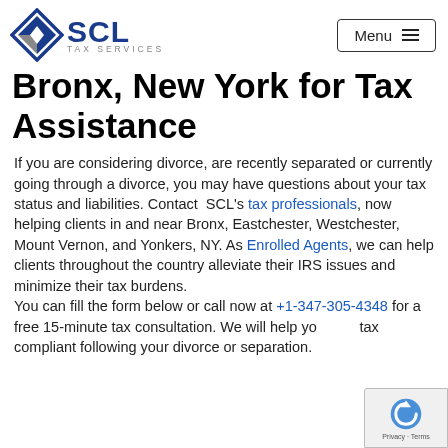[Figure (logo): SCL Tax Services logo with diamond/shield icon in blue and grey, text SCL in bold blue, TAX SERVICES below in grey]
Bronx, New York for Tax Assistance
If you are considering divorce, are recently separated or currently going through a divorce, you may have questions about your tax status and liabilities. Contact SCL's tax professionals, now helping clients in and near Bronx, Eastchester, Westchester, Mount Vernon, and Yonkers, NY. As Enrolled Agents, we can help clients throughout the country alleviate their IRS issues and minimize their tax burdens.
You can fill the form below or call now at +1-347-305-4348 for a free 15-minute tax consultation. We will help you stay tax compliant following your divorce or separation.